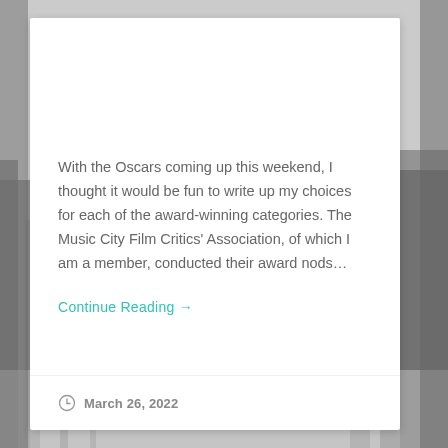With the Oscars coming up this weekend, I thought it would be fun to write up my choices for each of the award-winning categories. The Music City Film Critics' Association, of which I am a member, conducted their award nods…
Continue Reading →
March 26, 2022